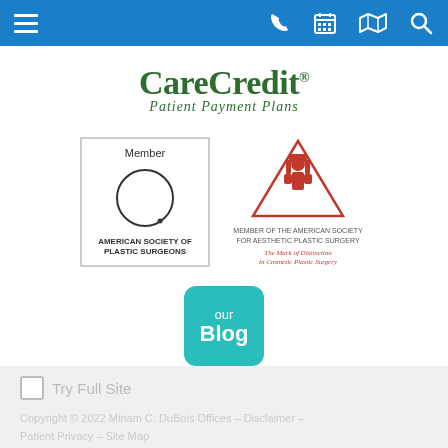Navigation bar with menu, phone, calendar, map, and search icons
[Figure (logo): CareCredit Patient Payment Plans logo]
[Figure (logo): Member - American Society of Plastic Surgeons logo]
[Figure (logo): Member of the American Society for Aesthetic Plastic Surgery logo]
[Figure (logo): Our Blog button - teal rounded square with 'our Blog' text]
Try Full Site
Copyright © 2022 Miriam C. DuBois Offices - Disclaimer - Patient Privacy - Site Map